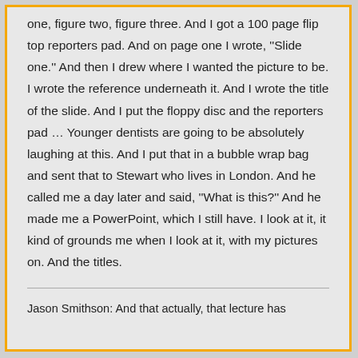one, figure two, figure three. And I got a 100 page flip top reporters pad. And on page one I wrote, "Slide one." And then I drew where I wanted the picture to be. I wrote the reference underneath it. And I wrote the title of the slide. And I put the floppy disc and the reporters pad … Younger dentists are going to be absolutely laughing at this. And I put that in a bubble wrap bag and sent that to Stewart who lives in London. And he called me a day later and said, "What is this?" And he made me a PowerPoint, which I still have. I look at it, it kind of grounds me when I look at it, with my pictures on. And the titles.
Jason Smithson: And that actually, that lecture has